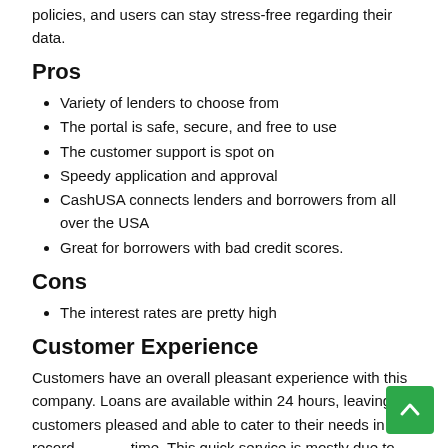policies, and users can stay stress-free regarding their data.
Pros
Variety of lenders to choose from
The portal is safe, secure, and free to use
The customer support is spot on
Speedy application and approval
CashUSA connects lenders and borrowers from all over the USA
Great for borrowers with bad credit scores.
Cons
The interest rates are pretty high
Customer Experience
Customers have an overall pleasant experience with this company. Loans are available within 24 hours, leaving customers pleased and able to cater to their needs in record time. This quick service is mostly due to the company lenders